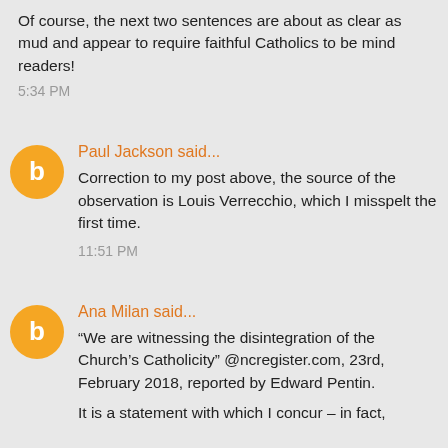Of course, the next two sentences are about as clear as mud and appear to require faithful Catholics to be mind readers!
5:34 PM
Paul Jackson said...
Correction to my post above, the source of the observation is Louis Verrecchio, which I misspelt the first time.
11:51 PM
Ana Milan said...
“We are witnessing the disintegration of the Church’s Catholicity” @ncregister.com, 23rd, February 2018, reported by Edward Pentin.
It is a statement with which I concur – in fact,